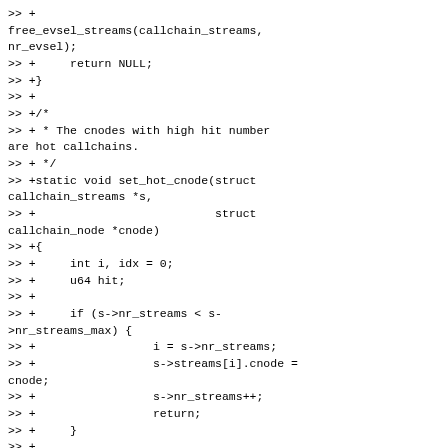>> +
free_evsel_streams(callchain_streams,
nr_evsel);
>> +     return NULL;
>> +}
>> +
>> +/*
>> + * The cnodes with high hit number are hot callchains.
>> + */
>> +static void set_hot_cnode(struct callchain_streams *s,
>> +                          struct callchain_node *cnode)
>> +{
>> +     int i, idx = 0;
>> +     u64 hit;
>> +
>> +     if (s->nr_streams < s->nr_streams_max) {
>> +                 i = s->nr_streams;
>> +                 s->streams[i].cnode = cnode;
>> +                 s->nr_streams++;
>> +                 return;
>> +     }
>> +
>> +     /*
>> +      * Since only a few number of hot streams, so only use simple
>> + * way to find the cnode with